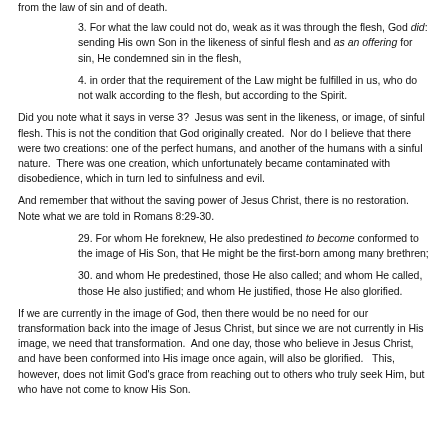from the law of sin and of death.
3. For what the law could not do, weak as it was through the flesh, God did: sending His own Son in the likeness of sinful flesh and as an offering for sin, He condemned sin in the flesh,
4. in order that the requirement of the Law might be fulfilled in us, who do not walk according to the flesh, but according to the Spirit.
Did you note what it says in verse 3?  Jesus was sent in the likeness, or image, of sinful flesh. This is not the condition that God originally created.  Nor do I believe that there were two creations: one of the perfect humans, and another of the humans with a sinful nature.  There was one creation, which unfortunately became contaminated with disobedience, which in turn led to sinfulness and evil.
And remember that without the saving power of Jesus Christ, there is no restoration. Note what we are told in Romans 8:29-30.
29. For whom He foreknew, He also predestined to become conformed to the image of His Son, that He might be the first-born among many brethren;
30. and whom He predestined, those He also called; and whom He called, those He also justified; and whom He justified, those He also glorified.
If we are currently in the image of God, then there would be no need for our transformation back into the image of Jesus Christ, but since we are not currently in His image, we need that transformation.  And one day, those who believe in Jesus Christ, and have been conformed into His image once again, will also be glorified.   This, however, does not limit God's grace from reaching out to others who truly seek Him, but who have not come to know His Son.